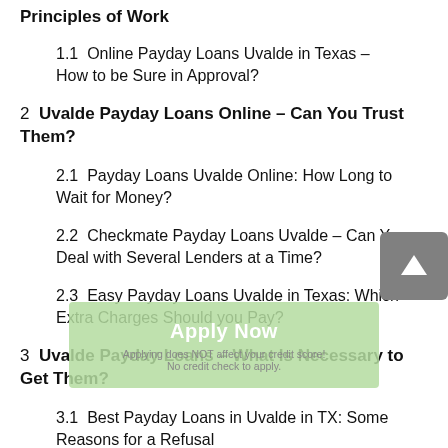Principles of Work
1.1  Online Payday Loans Uvalde in Texas – How to be Sure in Approval?
2  Uvalde Payday Loans Online – Can You Trust Them?
2.1  Payday Loans Uvalde Online: How Long to Wait for Money?
2.2  Checkmate Payday Loans Uvalde – Can You Deal with Several Lenders at a Time?
2.3  Easy Payday Loans Uvalde in Texas: Which Extra Charges Should you Pay?
3  Uvalde Payday Loans – What Is Necessary to Get Them?
3.1  Best Payday Loans in Uvalde in TX: Some Reasons for a Refusal